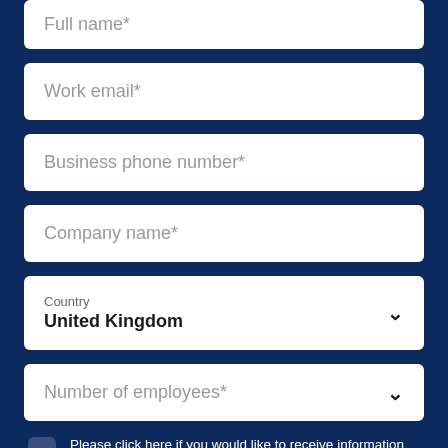Full name*
Work email*
Business phone number*
Company name*
Country: United Kingdom
Number of employees*
Please click here if you would like to receive information about our services, products, and exclusive offers through email, telephone, or regular mail. You can unsubscribe at any time.